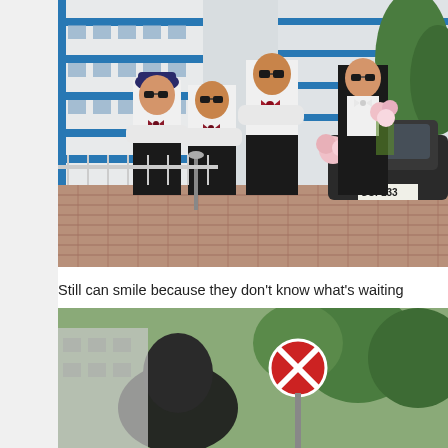[Figure (photo): Four men in formal wedding attire (white dress shirts, black trousers, bow ties, sunglasses) standing in front of a dark luxury car decorated with flowers. Background shows a Singapore HDB apartment block with blue trim stripes. The car's license plate reads SCF133.]
Still can smile because they don't know what's waiting
[Figure (photo): Partial view of a second outdoor photo showing a person in dark clothing in the foreground with trees and a red circular road sign in the background.]